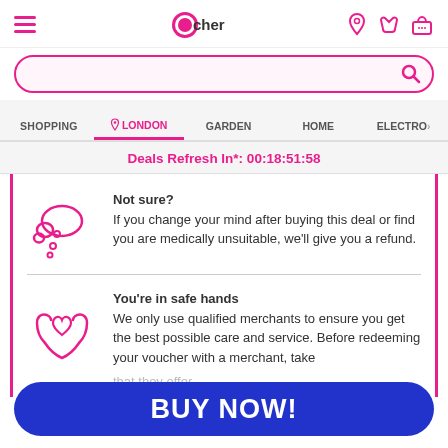Wowcher — navigation header with hamburger menu, logo, location pin, heart, and basket icons
Search bar
SHOPPING  LONDON  GARDEN  HOME  ELECTRO>
Deals Refresh In*: 00:18:51:58
Not sure? If you change your mind after buying this deal or find you are medically unsuitable, we'll give you a refund.
You're in safe hands We only use qualified merchants to ensure you get the best possible care and service. Before redeeming your voucher with a merchant, take that they offer.
BUY NOW!